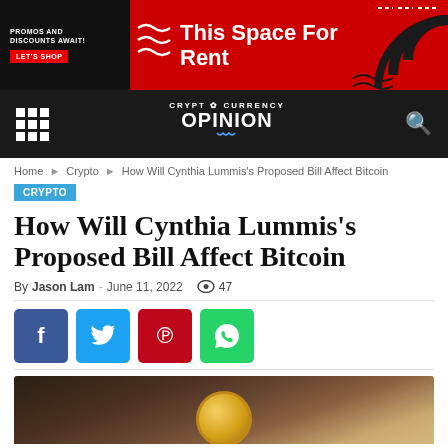[Figure (infographic): Advertisement banner: 'This Space For Rent' with decorative wave patterns and circular motifs on red background]
CRYPT CURRENCY OPINION
Home > Crypto > How Will Cynthia Lummis's Proposed Bill Affect Bitcoin
CRYPTO
How Will Cynthia Lummis's Proposed Bill Affect Bitcoin
By Jason Lam - June 11, 2022  47
[Figure (infographic): Social share buttons: Facebook (blue), Twitter (light blue), Pinterest (red), WhatsApp (green)]
[Figure (photo): Close-up photo of a gold Bitcoin coin on dark soil/ground background]